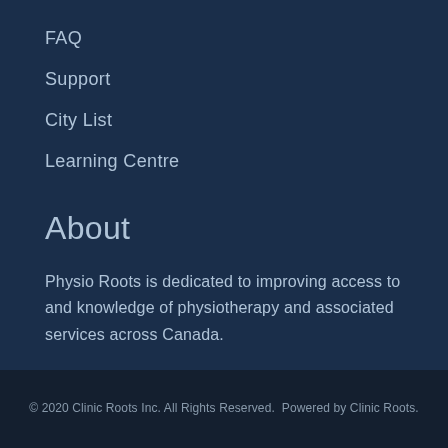FAQ
Support
City List
Learning Centre
About
Physio Roots is dedicated to improving access to and knowledge of physiotherapy and associated services across Canada.
© 2020 Clinic Roots Inc. All Rights Reserved.  Powered by Clinic Roots.